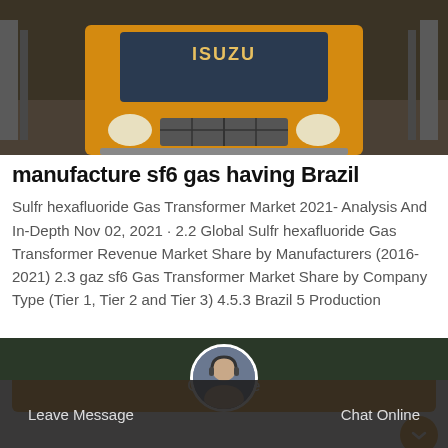[Figure (photo): Yellow Isuzu truck viewed from front, on a road with barriers on both sides, dark moody lighting]
manufacture sf6 gas having Brazil
Sulfr hexafluoride Gas Transformer Market 2021- Analysis And In-Depth Nov 02, 2021 · 2.2 Global Sulfr hexafluoride Gas Transformer Revenue Market Share by Manufacturers (2016-2021) 2.3 gaz sf6 Gas Transformer Market Share by Company Type (Tier 1, Tier 2 and Tier 3) 4.5.3 Brazil 5 Production
[Figure (infographic): Orange Get Price button]
[Figure (photo): Bottom banner with Leave Message and Chat Online options, with customer service avatar in center circle]